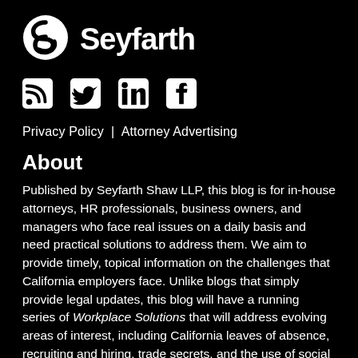[Figure (logo): Seyfarth logo with stylized S icon and Seyfarth wordmark in white on black background]
[Figure (infographic): Four social media icons: RSS feed, Twitter, LinkedIn, Facebook — white on black]
Privacy Policy | Attorney Advertising
About
Published by Seyfarth Shaw LLP, this blog is for in-house attorneys, HR professionals, business owners, and managers who face real issues on a daily basis and need practical solutions to address them. We aim to provide timely, topical information on the challenges that California employers face. Unlike blogs that simply provide legal updates, this blog will have a running series of Workplace Solutions that will address evolving areas of interest, including California leaves of absence, recruiting and hiring, trade secrets, and the use of social media.